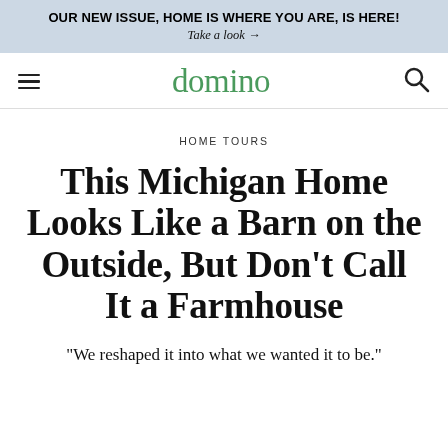OUR NEW ISSUE, HOME IS WHERE YOU ARE, IS HERE! Take a look →
domino
HOME TOURS
This Michigan Home Looks Like a Barn on the Outside, But Don't Call It a Farmhouse
“We reshaped it into what we wanted it to be.”